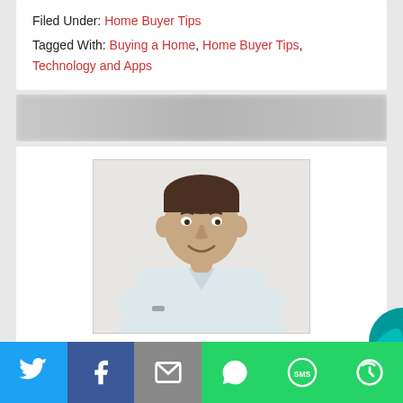Filed Under: Home Buyer Tips
Tagged With: Buying a Home, Home Buyer Tips, Technology and Apps
[Figure (photo): Profile photo of a man in a white shirt, smiling, with border]
Contact Me
[Figure (infographic): Social share bar with Twitter, Facebook, Email, WhatsApp, SMS, and another icon buttons]